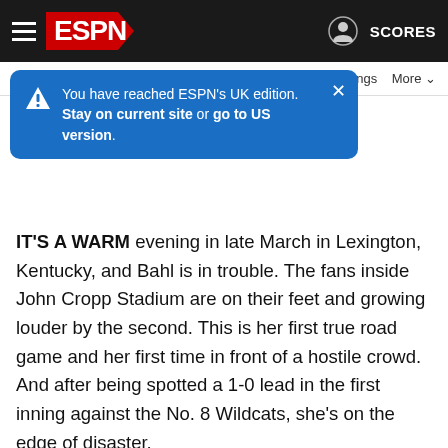ESPN navigation bar with hamburger menu, ESPN logo, user icon and SCORES
You have reached ESPN's UK edition. Stay on current site or go to US version.
IT'S A WARM evening in late March in Lexington, Kentucky, and Bahl is in trouble. The fans inside John Cropp Stadium are on their feet and growing louder by the second. This is her first true road game and her first time in front of a hostile crowd. And after being spotted a 1-0 lead in the first inning against the No. 8 Wildcats, she's on the edge of disaster.
First, she gave up a single through the left side, which was annoying but no big deal. But then she fielded a bunt and made a throwing error. Then came another bunt and another error, only this time she couldn't field the ball cleanly and loaded the bases with no outs.
The steady simmer she usually competes with turns into a